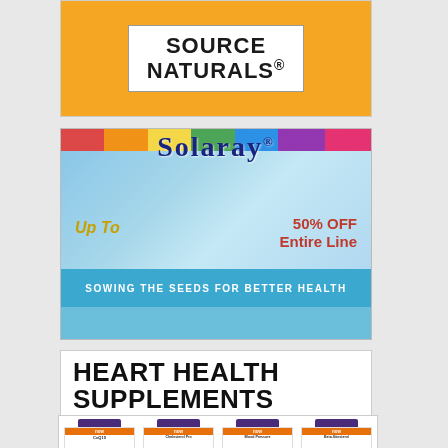[Figure (logo): Source Naturals brand logo on orange background with white bordered box]
[Figure (infographic): Solaray advertisement banner with rainbow stripe, botanical illustrations, blue sky background. Text: Up To 50% OFF Entire Line. SOWING THE SEEDS FOR BETTER HEALTH]
HEART HEALTH SUPPLEMENTS
GO TO HEART HEALTH ▶
[Figure (photo): Row of NOW brand supplement bottles: CoQ10, Cholesterol Pro, Blood Pressure, Beta-Sitosterol Plant Sterols]